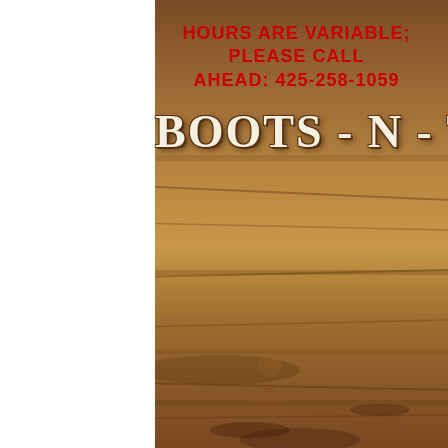[Figure (photo): Weathered wooden background texture in warm brown/tan tones, suggesting old worn wood planks. A faint silhouette of what appears to be a cowboy on horseback is visible in the upper-center area.]
HOURS ARE VARIABLE; PLEASE CALL AHEAD:  425-258-1059
BOOTS - N - THINGS